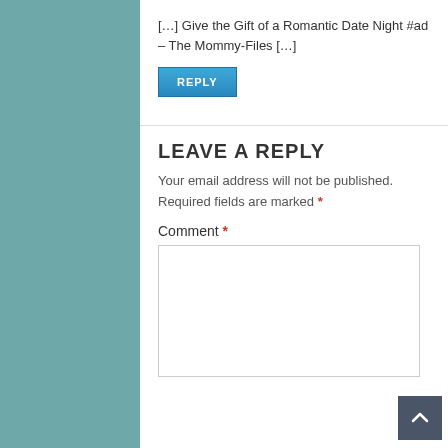[…] Give the Gift of a Romantic Date Night #ad – The Mommy-Files […]
REPLY
LEAVE A REPLY
Your email address will not be published. Required fields are marked *
Comment *